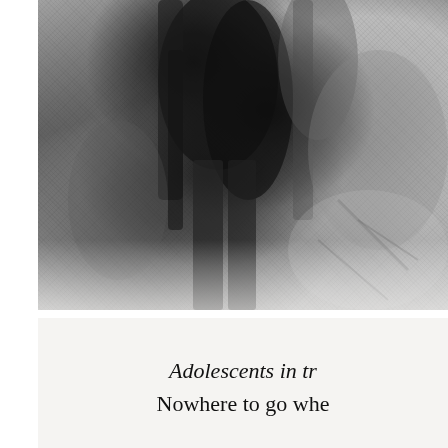[Figure (photo): Black and white grainy photograph showing the lower body/legs of a person, possibly wearing a coat or heavy clothing, with a dark background featuring tree-like or textured elements. The image is cropped and partially visible.]
Adolescents in tr[ansition] / Nowhere to go whe[n...]